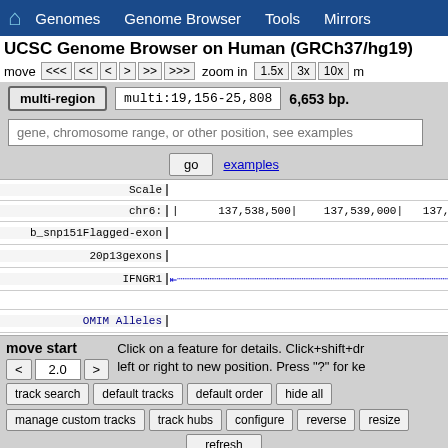🏠 Genomes  Genome Browser  Tools  Mirrors
UCSC Genome Browser on Human (GRCh37/hg19)
move  <<<  <<  <  >  >>  >>>  zoom in  1.5x  3x  10x
multi-region  multi:19,156-25,808  6,653 bp.
gene, chromosome range, or other position, see examples
go  examples
[Figure (screenshot): UCSC Genome Browser track view showing chr6 at positions 137,538,500 to 137,539,000+. Tracks shown: Scale, chr6 coordinates, b_snp151Flagged-exon, 20p13gexons, IFNGR1 (with leftward arrow annotation), OMIM Alleles, Flagged SNPs(151)]
move start
< 2.0 >
Click on a feature for details. Click+shift+drag left or right to new position. Press "?" for ke
track search  default tracks  default order  hide all  manage custom tracks  track hubs  configure  reverse  resize  refresh
Use drop-down controls below